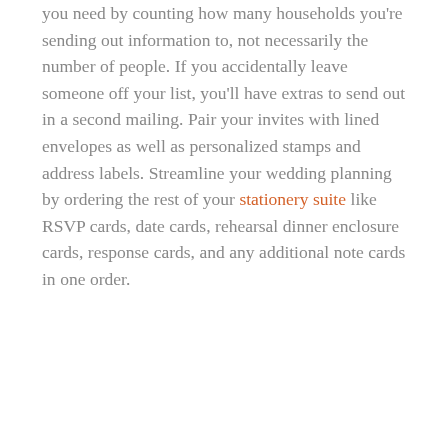you need by counting how many households you're sending out information to, not necessarily the number of people. If you accidentally leave someone off your list, you'll have extras to send out in a second mailing. Pair your invites with lined envelopes as well as personalized stamps and address labels. Streamline your wedding planning by ordering the rest of your stationery suite like RSVP cards, date cards, rehearsal dinner enclosure cards, response cards, and any additional note cards in one order.